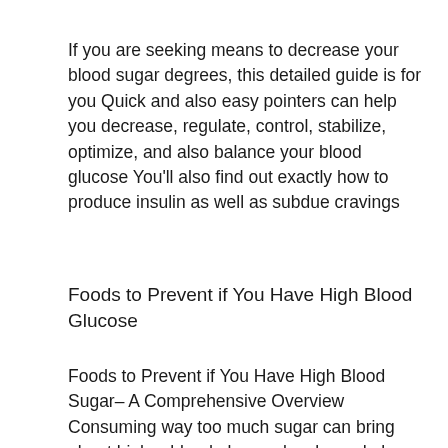If you are seeking means to decrease your blood sugar degrees, this detailed guide is for you Quick and also easy pointers can help you decrease, regulate, control, stabilize, optimize, and also balance your blood glucose You'll also find out exactly how to produce insulin as well as subdue cravings
Foods to Prevent if You Have High Blood Glucose
Foods to Prevent if You Have High Blood Sugar– A Comprehensive Overview Consuming way too much sugar can bring about higher blood glucose levels, and also